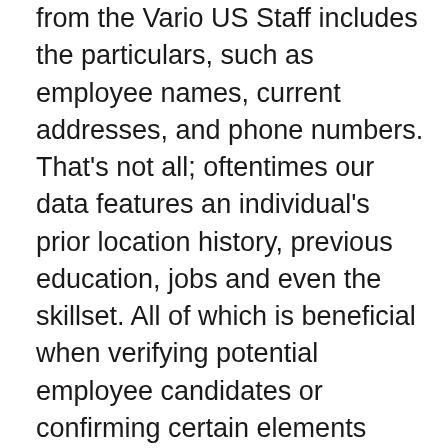from the vario US Staff includes the particulars, such as employee names, current addresses, and phone numbers. That's not all; oftentimes our data features an individual's prior location history, previous education, jobs and even the skillset. All of which is beneficial when verifying potential employee candidates or confirming certain elements about someone. We also provide photographs of employees when possible, which is extremely helpful for putting a face with a name in the event that the specific individual you're searching for, has a common name.

The search features make it fast so you can get the results you need today, so you can